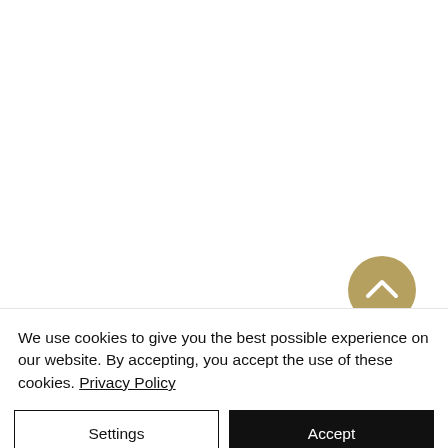[Figure (other): Golden/tan circular scroll-to-top button with a white upward-pointing chevron icon]
We use cookies to give you the best possible experience on our website. By accepting, you accept the use of these cookies. Privacy Policy
Settings
Accept